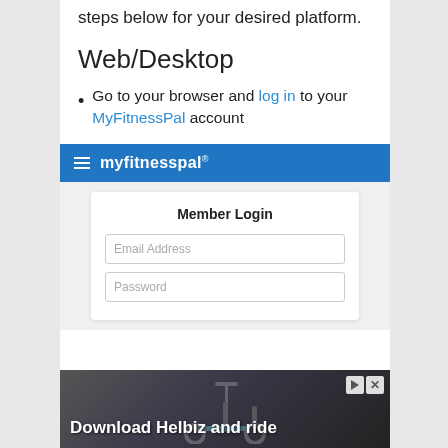steps below for your desired platform.
Web/Desktop
Go to your browser and log in to your MyFitnessPal account
[Figure (screenshot): MyFitnessPal website screenshot showing the blue navigation bar with hamburger menu and brand name 'myfitnesspal', and a Member Login form with Email Address and Password fields]
[Figure (photo): Advertisement banner showing a scooter photo with text 'Download Helbiz and ride' and ad control buttons]